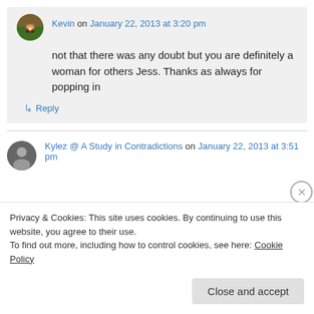Kevin on January 22, 2013 at 3:20 pm
not that there was any doubt but you are definitely a woman for others Jess. Thanks as always for popping in
↳ Reply
Kylez @ A Study in Contradictions on January 22, 2013 at 3:51 pm
Privacy & Cookies: This site uses cookies. By continuing to use this website, you agree to their use.
To find out more, including how to control cookies, see here: Cookie Policy
Close and accept